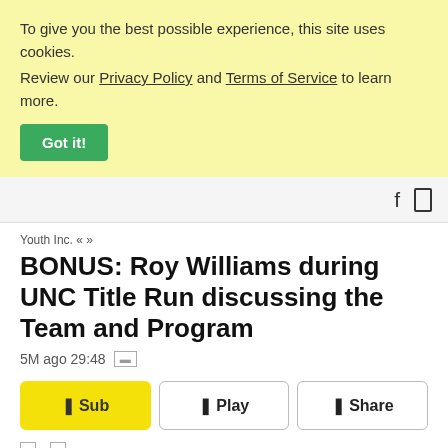To give you the best possible experience, this site uses cookies. Review our Privacy Policy and Terms of Service to learn more. Got it!
[Figure (screenshot): Navigation bar with search and bookmark icons]
Youth Inc. « »
BONUS: Roy Williams during UNC Title Run discussing the Team and Program
5M ago 29:48
❙ Sub   ❙ Play   ❙ Share
MP3 • Episode home